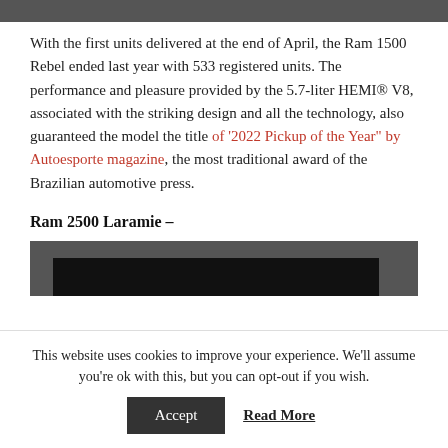With the first units delivered at the end of April, the Ram 1500 Rebel ended last year with 533 registered units. The performance and pleasure provided by the 5.7-liter HEMI® V8, associated with the striking design and all the technology, also guaranteed the model the title of '2022 Pickup of the Year" by Autoesporte magazine, the most traditional award of the Brazilian automotive press.
Ram 2500 Laramie –
[Figure (photo): Dark image area, partially visible, showing a dark/black rectangular region against a grey background box]
This website uses cookies to improve your experience. We'll assume you're ok with this, but you can opt-out if you wish.